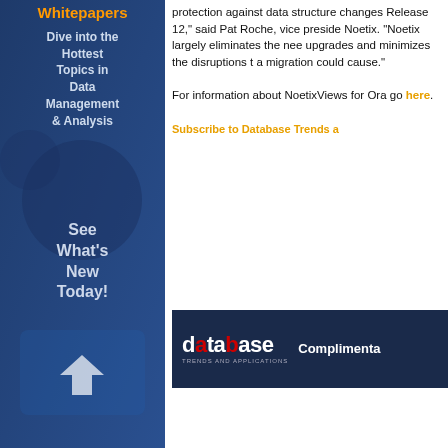[Figure (illustration): Blue sidebar with whitepaper promotional graphic showing download icon and hand, with text about Data Management topics]
protection against data structure changes Release 12," said Pat Roche, vice preside Noetix. "Noetix largely eliminates the nee upgrades and minimizes the disruptions t a migration could cause."
For information about NoetixViews for Ora go here.
Subscribe to Database Trends a
[Figure (logo): Database Trends and Applications banner with logo and Complimenta text on dark navy background]